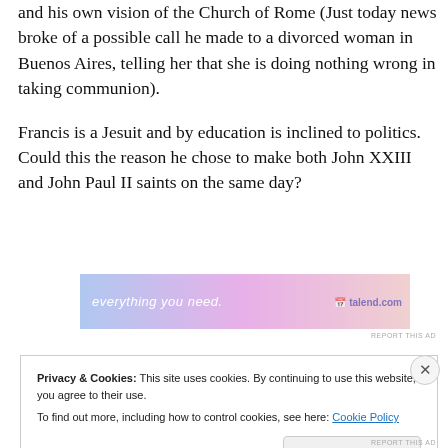and his own vision of the Church of Rome (Just today news broke of a possible call he made to a divorced woman in Buenos Aires, telling her that she is doing nothing wrong in taking communion).
Francis is a Jesuit and by education is inclined to politics. Could this the reason he chose to make both John XXIII and John Paul II saints on the same day?
[Figure (other): Advertisement banner with gradient background and text 'everything you need.']
Privacy & Cookies: This site uses cookies. By continuing to use this website, you agree to their use. To find out more, including how to control cookies, see here: Cookie Policy
Close and accept